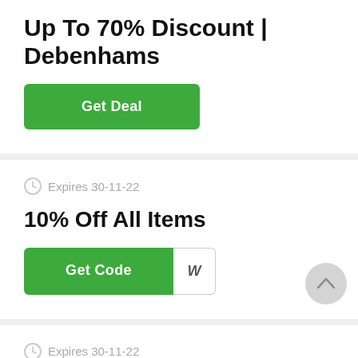Up To 70% Discount | Debenhams
[Figure (other): Green 'Get Deal' button]
Expires 30-11-22
10% Off All Items
[Figure (other): Green 'Get Code' button with code reveal area showing 'W']
[Figure (other): Scroll-up circular button]
Expires 30-11-22